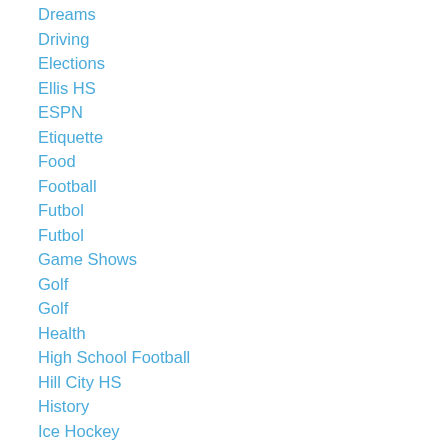Dreams
Driving
Elections
Ellis HS
ESPN
Etiquette
Food
Football
Futbol
Futbol
Game Shows
Golf
Golf
Health
High School Football
Hill City HS
History
Ice Hockey
Kansas
Kansas